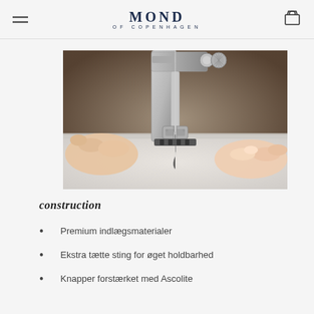MOND OF COPENHAGEN
[Figure (photo): Close-up photo of a sewing machine needle and presser foot stitching white fabric, with hands visible on either side]
construction
Premium indlægsmaterialer
Ekstra tætte sting for øget holdbarhed
Knapper forstærket med Ascolite